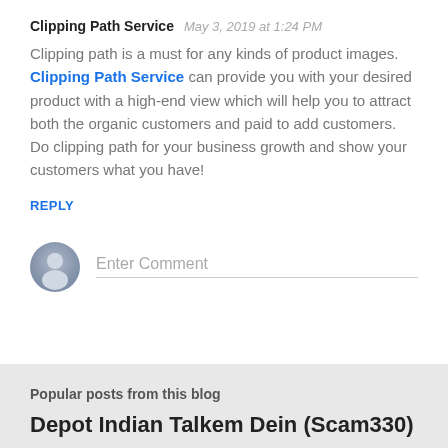Clipping Path Service   May 3, 2019 at 1:24 PM
Clipping path is a must for any kinds of product images. Clipping Path Service can provide you with your desired product with a high-end view which will help you to attract both the organic customers and paid to add customers. Do clipping path for your business growth and show your customers what you have!
REPLY
Enter Comment
Popular posts from this blog
Depot Indian Talkem Dein (Scam330)